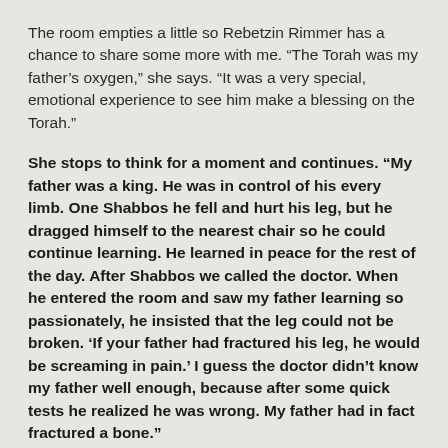The room empties a little so Rebetzin Rimmer has a chance to share some more with me. “The Torah was my father’s oxygen,” she says. “It was a very special, emotional experience to see him make a blessing on the Torah.”
She stops to think for a moment and continues. “My father was a king. He was in control of his every limb. One Shabbos he fell and hurt his leg, but he dragged himself to the nearest chair so he could continue learning. He learned in peace for the rest of the day. After Shabbos we called the doctor. When he entered the room and saw my father learning so passionately, he insisted that the leg could not be broken. ‘If your father had fractured his leg, he would be screaming in pain.’ I guess the doctor didn’t know my father well enough, because after some quick tests he realized he was wrong. My father had in fact fractured a bone.”